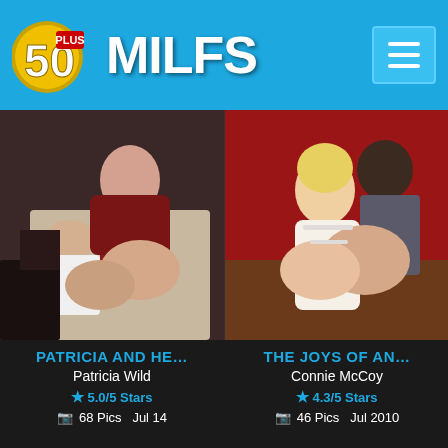50 PLUS MILFS
[Figure (photo): Adult content photo - Patricia Wild]
[Figure (photo): Adult content photo - Connie McCoy]
PATRICIA AND HE…
Patricia Wild
5.0/5 Stars
68 Pics  Jul 14
THE JOYS OF AN…
Connie McCoy
4.3/5 Stars
46 Pics  Jul 2010